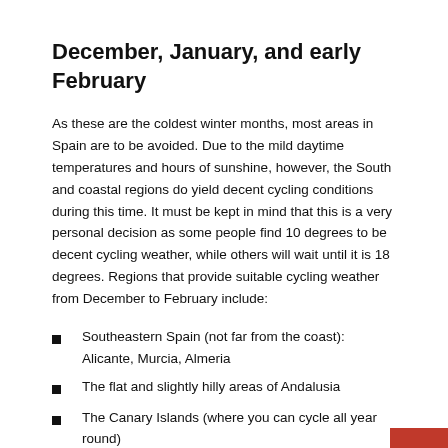December, January, and early February
As these are the coldest winter months, most areas in Spain are to be avoided. Due to the mild daytime temperatures and hours of sunshine, however, the South and coastal regions do yield decent cycling conditions during this time. It must be kept in mind that this is a very personal decision as some people find 10 degrees to be decent cycling weather, while others will wait until it is 18 degrees. Regions that provide suitable cycling weather from December to February include:
Southeastern Spain (not far from the coast): Alicante, Murcia, Almeria
The flat and slightly hilly areas of Andalusia
The Canary Islands (where you can cycle all year round)